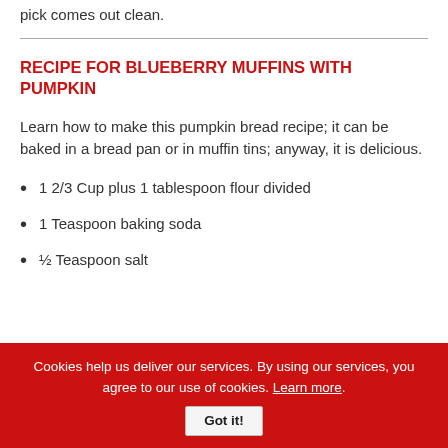pick comes out clean.
RECIPE FOR BLUEBERRY MUFFINS WITH PUMPKIN
Learn how to make this pumpkin bread recipe; it can be baked in a bread pan or in muffin tins; anyway, it is delicious.
1 2/3 Cup plus 1 tablespoon flour divided
1 Teaspoon baking soda
½ Teaspoon salt
Cookies help us deliver our services. By using our services, you agree to our use of cookies. Learn more. Got it!